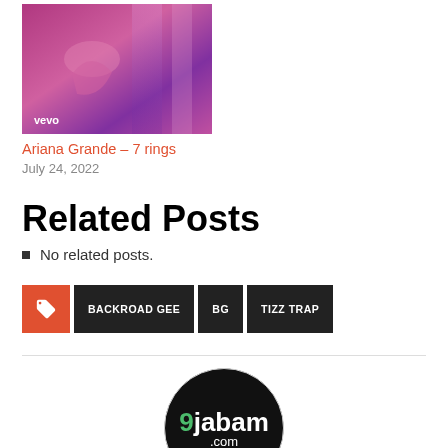[Figure (photo): Music video thumbnail for Ariana Grande 7 rings with vevo watermark, pink/purple lighting]
Ariana Grande – 7 rings
July 24, 2022
Related Posts
No related posts.
BACKROAD GEE   BG   TIZZ TRAP
[Figure (logo): 9jabam.com logo — black circle with green 9 and white jabam text]